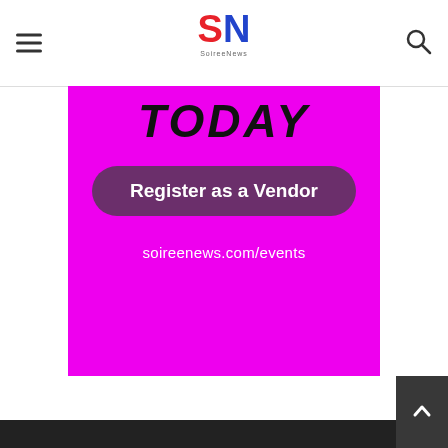SN - SoireeNews
[Figure (infographic): Magenta/purple advertisement banner reading 'TODAY' in large black italic text, with a dark purple rounded button 'Register as a Vendor' and white text URL 'soireenews.com/events' below.]